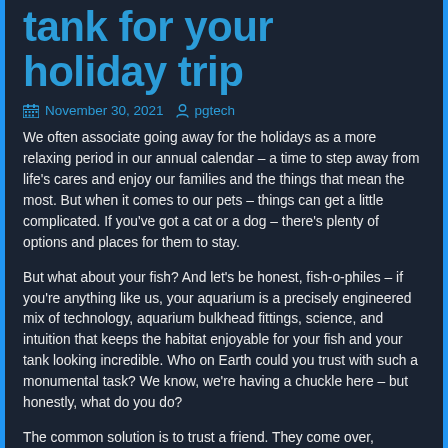tank for your holiday trip
November 30, 2021  pgtech
We often associate going away for the holidays as a more relaxing period in our annual calendar – a time to step away from life's cares and enjoy our families and the things that mean the most. But when it comes to our pets – things can get a little complicated. If you've got a cat or a dog – there's plenty of options and places for them to stay.
But what about your fish? And let's be honest, fish-o-philes – if you're anything like us, your aquarium is a precisely engineered mix of technology, aquarium bulkhead fittings, science, and intuition that keeps the habitat enjoyable for your fish and your tank looking incredible. Who on Earth could you trust with such a monumental task? We know, we're having a chuckle here – but honestly, what do you do?
The common solution is to trust a friend. They come over, hopefully they know what they're doing and everyone comes